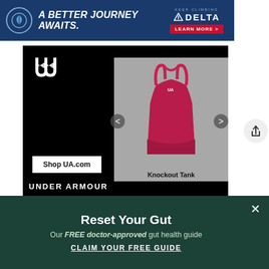[Figure (screenshot): Delta Airlines advertisement banner: 'A BETTER JOURNEY AWAITS.' with Delta logo and 'LEARN MORE >' button on dark blue background]
[Figure (screenshot): Under Armour advertisement showing UA logo, a pink/red Knockout Tank top on grey background with navigation arrows, 'Shop UA.com' button, and 'UNDER ARMOUR' brand name in white text on black background]
[Figure (screenshot): Share button icon (upload/share arrow) on light grey circular background on right side]
[Figure (screenshot): Reset Your Gut popup banner on dark green background with text: 'Reset Your Gut', 'Our FREE doctor-approved gut health guide', 'CLAIM YOUR FREE GUIDE' with X close button]